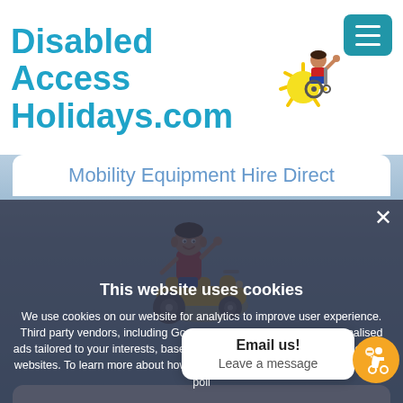Disabled Access Holidays.com
Mobility Equipment Hire Direct
[Figure (illustration): Cartoon character mascot of a person in a wheelchair/mobility scooter, waving, with a sun icon. Used as the website logo illustration.]
This website uses cookies
We use cookies on our website for analytics to improve user experience. Third party vendors, including Google, use cookies to serve personalised ads tailored to your interests, based on your previous visits to this and other websites. To learn more about how we use cookies, please see our cookies pol...
ACCEPT ALL
ACCEPT O... IES
Email us!
Leave a message